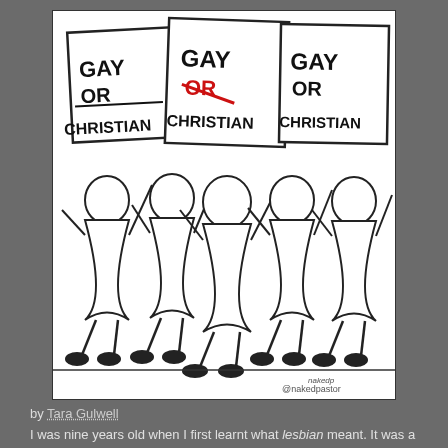[Figure (illustration): Black and white cartoon drawing showing a group of simplified bald figures holding protest signs that read 'GAY OR CHRISTIAN'. The middle sign has 'OR' crossed out in red. The figures are marching and wearing simple robes. Signed '@nakedpastor' in the bottom right corner.]
by Tara Gulwell
I was nine years old when I first learnt what lesbian meant. It was a word thrown at me as a measurement of depravity to which I should